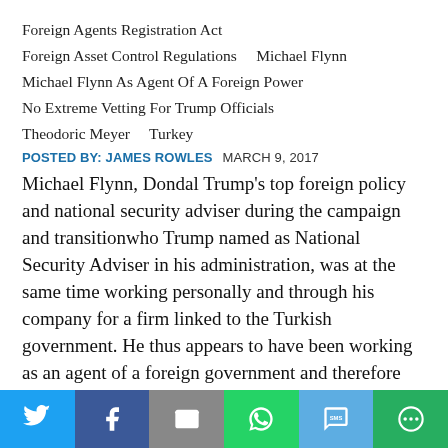Foreign Agents Registration Act
Foreign Asset Control Regulations    Michael Flynn
Michael Flynn As Agent Of A Foreign Power
No Extreme Vetting For Trump Officials
Theodoric Meyer    Turkey
POSTED BY: JAMES ROWLES    MARCH 9, 2017
Michael Flynn, Dondal Trump's top foreign policy and national security adviser during the campaign and transitionwho Trump named as National Security Adviser in his administration, was at the same time working personally and through his company for a firm linked to the Turkish government. He thus appears to have been working as an agent of a foreign government and therefore under a legal obligation to register
[Figure (other): Social sharing bar with icons for Twitter, Facebook, Email, WhatsApp, SMS, and More]